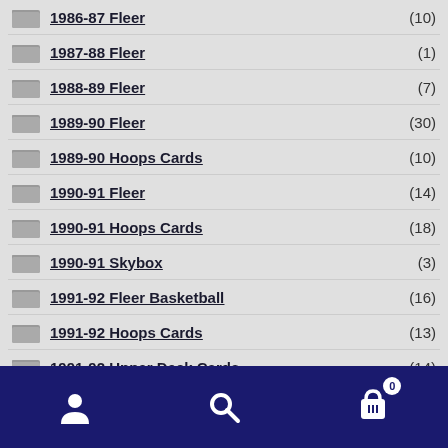1986-87 Fleer (10)
1987-88 Fleer (1)
1988-89 Fleer (7)
1989-90 Fleer (30)
1989-90 Hoops Cards (10)
1990-91 Fleer (14)
1990-91 Hoops Cards (18)
1990-91 Skybox (3)
1991-92 Fleer Basketball (16)
1991-92 Hoops Cards (13)
1991-92 Upper Deck Cards (14)
Navigation bar with user, search, and cart (0) icons